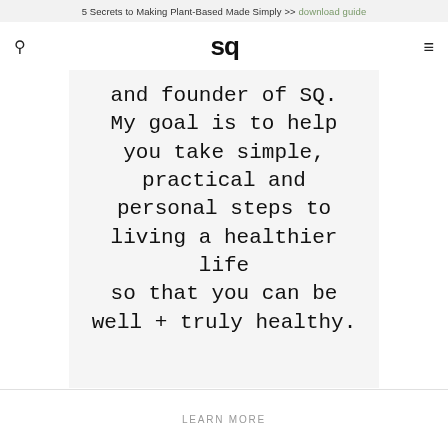5 Secrets to Making Plant-Based Made Simply >> download guide
sq
and founder of SQ. My goal is to help you take simple, practical and personal steps to living a healthier life so that you can be well + truly healthy.
LEARN MORE